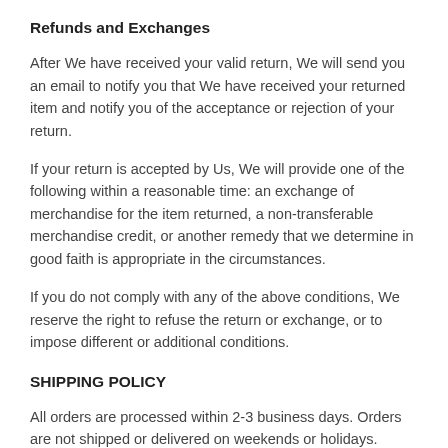Refunds and Exchanges
After We have received your valid return, We will send you an email to notify you that We have received your returned item and notify you of the acceptance or rejection of your return.
If your return is accepted by Us, We will provide one of the following within a reasonable time: an exchange of merchandise for the item returned, a non-transferable merchandise credit, or another remedy that we determine in good faith is appropriate in the circumstances.
If you do not comply with any of the above conditions, We reserve the right to refuse the return or exchange, or to impose different or additional conditions.
SHIPPING POLICY
All orders are processed within 2-3 business days. Orders are not shipped or delivered on weekends or holidays.